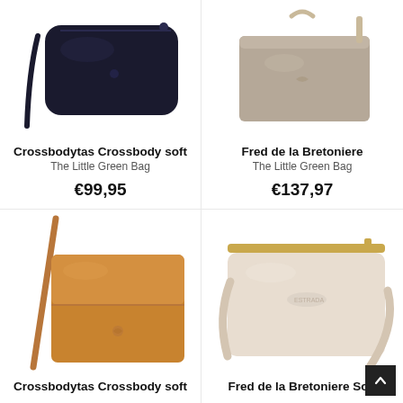[Figure (photo): Black crossbody soft bag on white background, top-left product]
Crossbodytas Crossbody soft
The Little Green Bag
€99,95
[Figure (photo): Taupe/beige Fred de la Bretoniere crossbody bag on white background, top-right product]
Fred de la Bretoniere
The Little Green Bag
€137,97
[Figure (photo): Tan/cognac crossbody soft bag with strap on white background, bottom-left product]
Crossbodytas Crossbody soft
[Figure (photo): Cream/beige Fred de la Bretoniere Soft crossbody bag with gold zipper, bottom-right product]